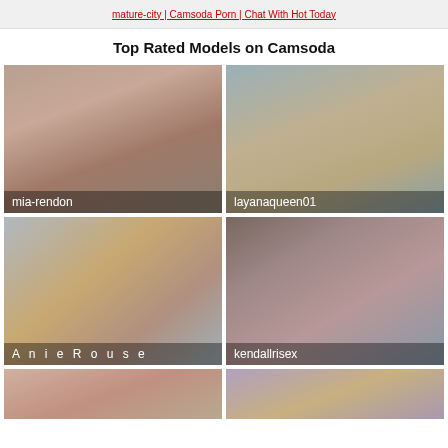mature-city | Camsoda Porn | Chat With Hot Today
Top Rated Models on Camsoda
[Figure (photo): Thumbnail photo of model mia-rendon with long red hair on a couch]
[Figure (photo): Thumbnail photo of model layanaqueen01 on a bed]
[Figure (photo): Thumbnail photo of model AnieRouse with red outfit]
[Figure (photo): Thumbnail photo of model kendallrisex sitting in a chair]
[Figure (photo): Partial thumbnail photo of a model, bottom row left]
[Figure (photo): Partial thumbnail photo of a model, bottom row right]